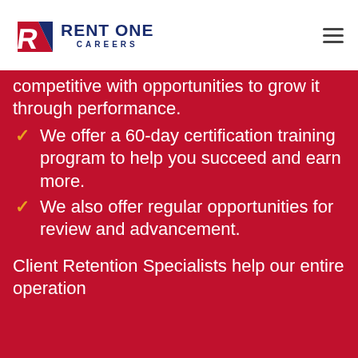[Figure (logo): Rent One Careers logo with stylized 'R' emblem in red and blue, text 'RENT ONE' in dark blue bold uppercase, and 'CAREERS' in dark blue spaced uppercase below]
competitive with opportunities to grow it through performance.
We offer a 60-day certification training program to help you succeed and earn more.
We also offer regular opportunities for review and advancement.
Client Retention Specialists help our entire operation